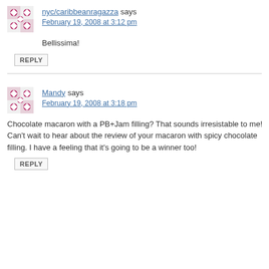nyc/caribbeanragazza says
February 19, 2008 at 3:12 pm
Bellissima!
REPLY
Mandy says
February 19, 2008 at 3:18 pm
Chocolate macaron with a PB+Jam filling? That sounds irresistable to me! Can't wait to hear about the review of your macaron with spicy chocolate filling. I have a feeling that it's going to be a winner too!
REPLY